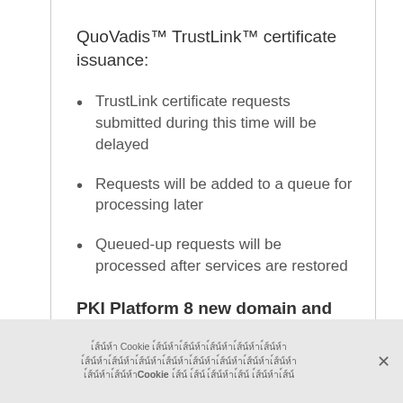QuoVadis™ TrustLink™ certificate issuance:
TrustLink certificate requests submitted during this time will be delayed
Requests will be added to a queue for processing later
Queued-up requests will be processed after services are restored
PKI Platform 8 new domain and organization validation:
Cookie [Thai text] Cookie [Thai text]